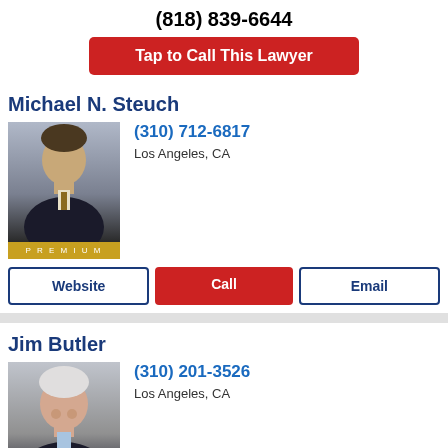(818) 839-6644
Tap to Call This Lawyer
Michael N. Steuch
[Figure (photo): Professional headshot of Michael N. Steuch, a man in a dark suit with a yellow PREMIUM badge at the bottom]
(310) 712-6817
Los Angeles, CA
Website
Call
Email
Jim Butler
[Figure (photo): Professional headshot of Jim Butler, a white-haired man smiling, with a yellow PREMIUM badge at the bottom]
(310) 201-3526
Los Angeles, CA